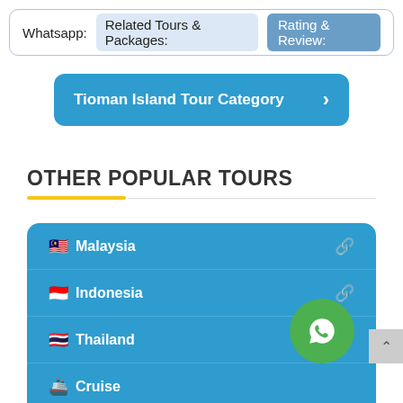Whatsapp: | Related Tours & Packages: | Rating & Review:
Tioman Island Tour Category
OTHER POPULAR TOURS
Malaysia
Indonesia
Thailand
Cruise
[Figure (screenshot): WhatsApp floating action button (green circle with phone/chat icon)]